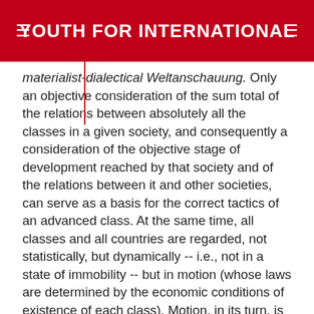YOUTH FOR INTERNATIONAL
materialist-dialectical Weltanschauung. Only an objective consideration of the sum total of the relations between absolutely all the classes in a given society, and consequently a consideration of the objective stage of development reached by that society and of the relations between it and other societies, can serve as a basis for the correct tactics of an advanced class. At the same time, all classes and all countries are regarded, not statistically, but dynamically -- i.e., not in a state of immobility -- but in motion (whose laws are determined by the economic conditions of existence of each class). Motion, in its turn, is regarded from the standpoint, not only of the past, but also of the future, and that not in the vulgar sense it is understood in by the "evolutionists", who see only slow changes, but dialectically: "... in developments of such magnitude 20 years are no more than a day," Marx wrote to Engels, "thought later on there may come days in which 20 years are embodied" At each stage of development, at each moment, proletarian tactics must take account of this objectively inevitable dialectics of human history, on the one hand, utilizing the periods of political stagnation or of sluggish, so-called "peaceful" development in order to develop